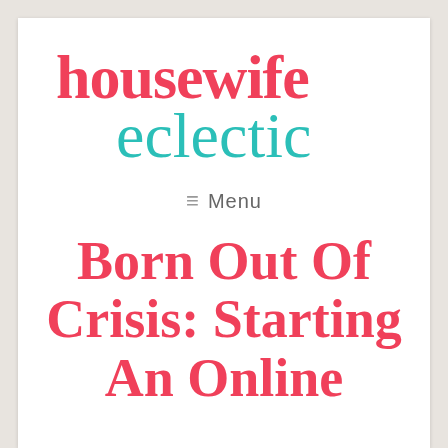[Figure (logo): Housewife Eclectic blog logo — 'housewife' in bold pink serif text and 'eclectic' in teal cursive script]
≡ Menu
Born Out Of Crisis: Starting An Online